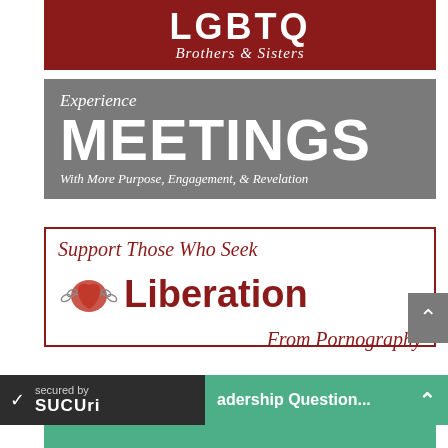[Figure (illustration): Dark red banner with 'LGBTQ' in large white bold text and 'Brothers & Sisters' in white italic script below]
[Figure (illustration): Gray banner with 'Experience' in white italic script, 'MEETINGS' in large white bold text, and 'With More Purpose, Engagement, & Revelation' in white italic below]
[Figure (illustration): White bordered banner with dark red text reading 'Support Those Who Seek Liberation From Pornography' with a heart wrapped in chains illustration]
[Figure (illustration): Sucuri security badge (dark background with checkmark) and a green bar with 'adership Question...' text and up arrow]